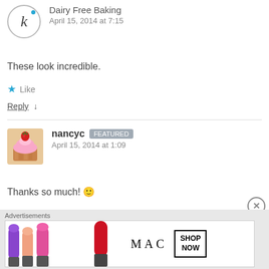[Figure (illustration): Circular avatar with letter K and a small teal dot, representing Dairy Free Baking commenter]
Dairy Free Baking
April 15, 2014 at 7:15
These look incredible.
★ Like
Reply ↓
[Figure (photo): Small square avatar showing a cupcake with pink frosting and a strawberry on top]
nancyc [FEATURED]
April 15, 2014 at 1:09
Thanks so much! 🙂
Advertisements
[Figure (illustration): MAC cosmetics advertisement showing lipsticks in purple, pink shades with MAC logo and SHOP NOW button]